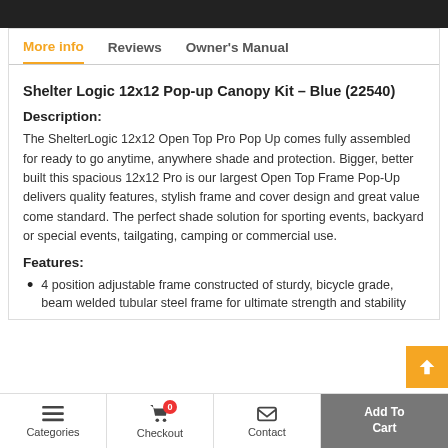More info | Reviews | Owner's Manual
Shelter Logic 12x12 Pop-up Canopy Kit - Blue (22540)
Description:
The ShelterLogic 12x12 Open Top Pro Pop Up comes fully assembled for ready to go anytime, anywhere shade and protection. Bigger, better built this spacious 12x12 Pro is our largest Open Top Frame Pop-Up delivers quality features, stylish frame and cover design and great value come standard. The perfect shade solution for sporting events, backyard or special events, tailgating, camping or commercial use.
Features:
4 position adjustable frame constructed of sturdy, bicycle grade, beam welded tubular steel frame for ultimate strength and stability
Categories | Checkout 0 | Contact | Add To Cart